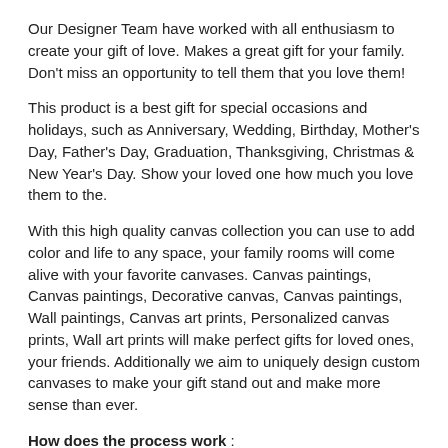Our Designer Team have worked with all enthusiasm to create your gift of love. Makes a great gift for your family. Don't miss an opportunity to tell them that you love them!
This product is a best gift for special occasions and holidays, such as Anniversary, Wedding, Birthday, Mother's Day, Father's Day, Graduation, Thanksgiving, Christmas & New Year's Day. Show your loved one how much you love them to the.
With this high quality canvas collection you can use to add color and life to any space, your family rooms will come alive with your favorite canvases. Canvas paintings, Canvas paintings, Decorative canvas, Canvas paintings, Wall paintings, Canvas art prints, Personalized canvas prints, Wall art prints will make perfect gifts for loved ones, your friends. Additionally we aim to uniquely design custom canvases to make your gift stand out and make more sense than ever.
How does the process work :
Choose the product type, size and color, etc.